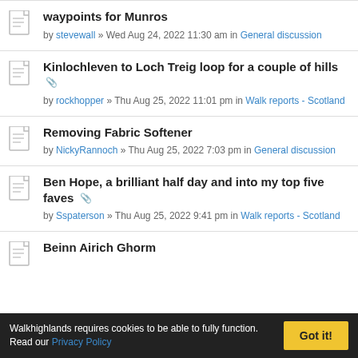waypoints for Munros by stevewall » Wed Aug 24, 2022 11:30 am in General discussion
Kinlochleven to Loch Treig loop for a couple of hills by rockhopper » Thu Aug 25, 2022 11:01 pm in Walk reports - Scotland
Removing Fabric Softener by NickyRannoch » Thu Aug 25, 2022 7:03 pm in General discussion
Ben Hope, a brilliant half day and into my top five faves by Sspaterson » Thu Aug 25, 2022 9:41 pm in Walk reports - Scotland
Beinn Airich Ghorm (partial)
Walkhighlands requires cookies to be able to fully function. Read our Privacy Policy